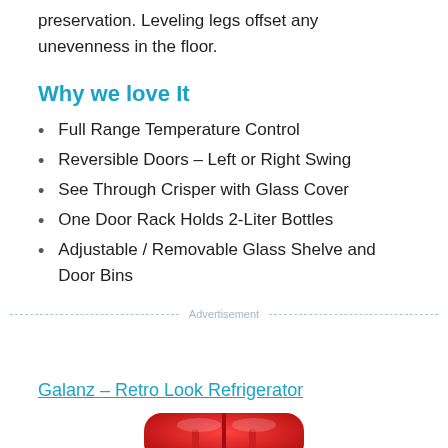preservation. Leveling legs offset any unevenness in the floor.
Why we love It
Full Range Temperature Control
Reversible Doors – Left or Right Swing
See Through Crisper with Glass Cover
One Door Rack Holds 2-Liter Bottles
Adjustable / Removable Glass Shelve and Door Bins
Advertisement
Galanz – Retro Look Refrigerator
[Figure (photo): Bottom portion of a red Galanz retro look refrigerator]